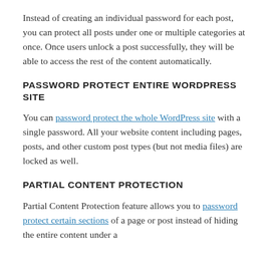Instead of creating an individual password for each post, you can protect all posts under one or multiple categories at once. Once users unlock a post successfully, they will be able to access the rest of the content automatically.
PASSWORD PROTECT ENTIRE WORDPRESS SITE
You can password protect the whole WordPress site with a single password. All your website content including pages, posts, and other custom post types (but not media files) are locked as well.
PARTIAL CONTENT PROTECTION
Partial Content Protection feature allows you to password protect certain sections of a page or post instead of hiding the entire content under a